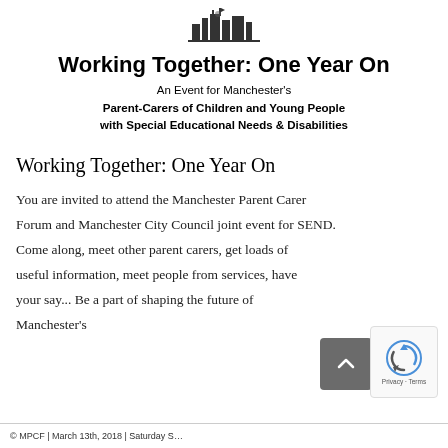[Figure (logo): Organisation logo at top center — appears to be a city or building graphic]
Working Together: One Year On
An Event for Manchester's Parent-Carers of Children and Young People with Special Educational Needs & Disabilities
Working Together: One Year On
You are invited to attend the Manchester Parent Carer Forum and Manchester City Council joint event for SEND. Come along, meet other parent carers, get loads of useful information, meet people from services, have your say... Be a part of shaping the future of Manchester's
© MPCF | March 13th, 2018 | Saturday S…